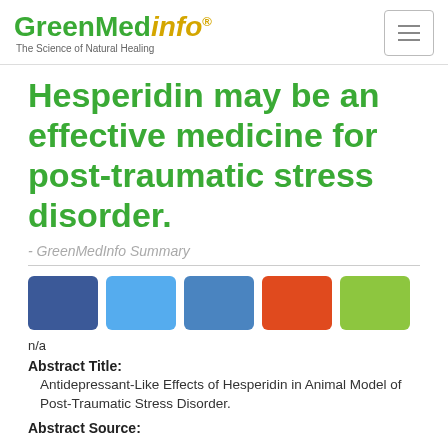GreenMedInfo - The Science of Natural Healing
Hesperidin may be an effective medicine for post-traumatic stress disorder.
- GreenMedInfo Summary
[Figure (other): Five social sharing buttons: Facebook (dark blue), Twitter (light blue), LinkedIn (medium blue), Google+ (orange-red), Pinterest (yellow-green)]
n/a
Abstract Title: Antidepressant-Like Effects of Hesperidin in Animal Model of Post-Traumatic Stress Disorder.
Abstract Source: